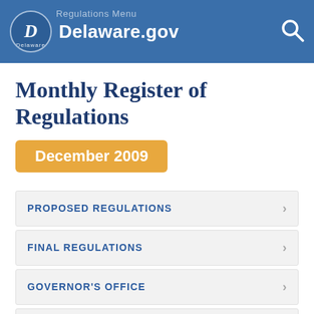Delaware.gov
Monthly Register of Regulations
December 2009
PROPOSED REGULATIONS
FINAL REGULATIONS
GOVERNOR'S OFFICE
CALENDAR